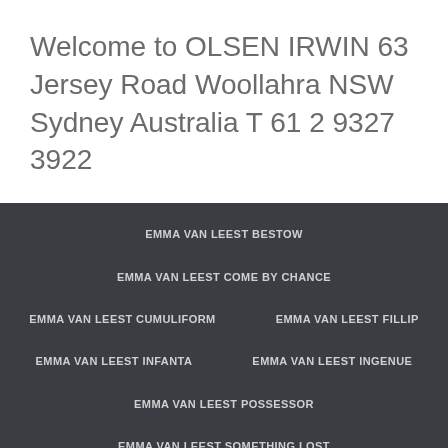Welcome to OLSEN IRWIN 63 Jersey Road Woollahra NSW Sydney Australia T 61 2 9327 3922
EMMA VAN LEEST BESTOW
EMMA VAN LEEST COME BY CHANCE
EMMA VAN LEEST CUMULIFORM
EMMA VAN LEEST FILLIP
EMMA VAN LEEST INFANTA
EMMA VAN LEEST INGENUE
EMMA VAN LEEST POSSESSOR
EMMA VAN LEEST SOMETHING LOST